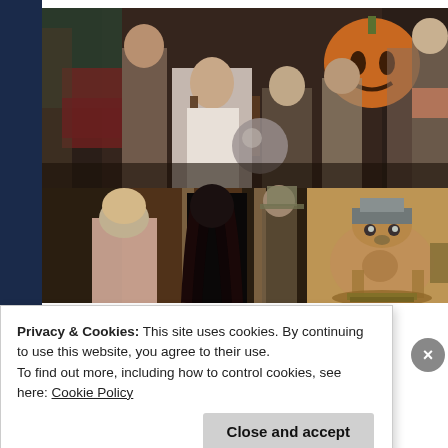[Figure (screenshot): Screenshot of a webpage showing movie stills from what appears to be a fantasy film (Return to Oz or similar). Top image shows a crowd of costumed characters with a girl in braids at center and a pumpkin-headed figure. Bottom left shows a girl and dark-haired character in a doorway. Bottom right shows a round robot-like character.]
Privacy & Cookies: This site uses cookies. By continuing to use this website, you agree to their use.
To find out more, including how to control cookies, see here: Cookie Policy
Close and accept